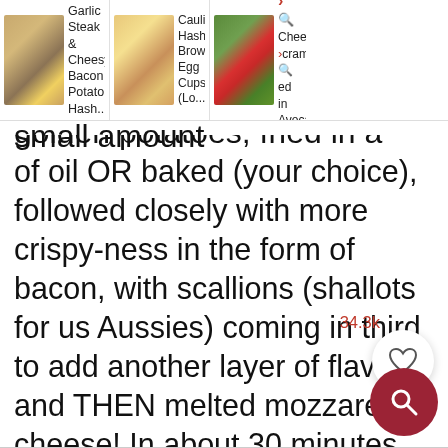[Figure (screenshot): Top navigation banner showing recipe thumbnails: Garlic Steak & Cheesy Bacon Potato Hash..., Cauliflower Hash Brown Egg Cups (Lo..., Cheesy [scrambled] in Avocado]
golden potatoes, fried in a small amount of oil OR baked (your choice), followed closely with more crispy-ness in the form of bacon, with scallions (shallots for us Aussies) coming in third to add another layer of flavour, and THEN melted mozzarella cheese! In about 30 minutes